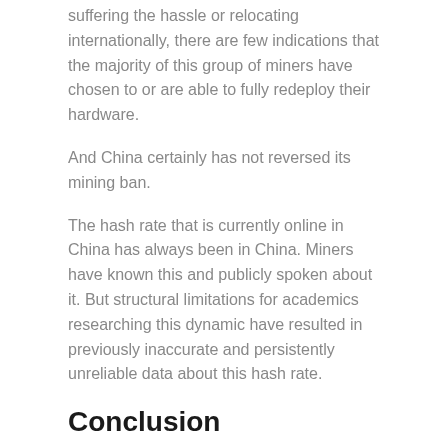suffering the hassle or relocating internationally, there are few indications that the majority of this group of miners have chosen to or are able to fully redeploy their hardware.
And China certainly has not reversed its mining ban.
The hash rate that is currently online in China has always been in China. Miners have known this and publicly spoken about it. But structural limitations for academics researching this dynamic have resulted in previously inaccurate and persistently unreliable data about this hash rate.
Conclusion
Even though this article has somewhat harshly criticized the data published by the CCAF, it is not responsible for the foundational reasons why its data is unreliable.